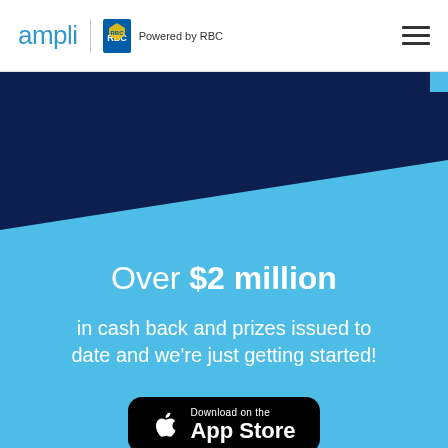ampli | Powered by RBC
Over $2 million
in cash back and prizes issued to date and we're just getting started!
[Figure (logo): Download on the App Store button with Apple logo]